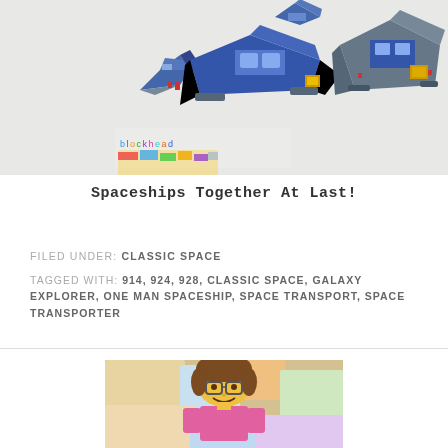[Figure (photo): Photo of LEGO classic space spaceships (sets 914, 924, 928) arranged together on a white surface, with a Blockhead Bricks logo overlay in the lower left]
Spaceships Together At Last!
FILED UNDER: CLASSIC SPACE
TAGGED WITH: 914, 924, 928, CLASSIC SPACE, GALAXY EXPLORER, ONE MAN SPACESHIP, SPACE TRANSPORT, SPACE TRANSPORTER
[Figure (photo): Close-up photo of a LEGO minifigure with brown hair and glasses, wearing a pink top, with colorful LEGO box art in the background]